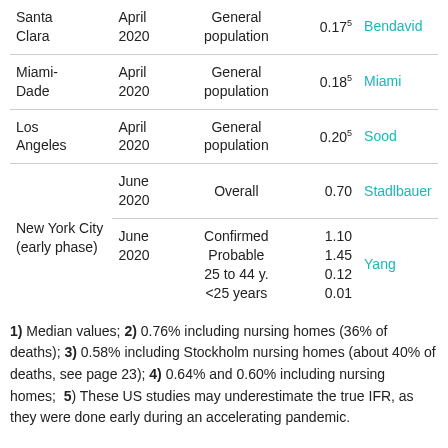| Location | Date | Population | IFR | Reference |
| --- | --- | --- | --- | --- |
| Santa Clara | April 2020 | General population | 0.175 | Bendavid |
| Miami-Dade | April 2020 | General population | 0.185 | Miami |
| Los Angeles | April 2020 | General population | 0.205 | Sood |
| New York City (early phase) | June 2020 | Overall | 0.70 | Stadlbauer |
| New York City (early phase) | June 2020 | Confirmed / Probable / 25 to 44 y. / <25 years | 1.10 / 1.45 / 0.12 / 0.01 | Yang |
1) Median values; 2) 0.76% including nursing homes (36% of deaths); 3) 0.58% including Stockholm nursing homes (about 40% of deaths, see page 23); 4) 0.64% and 0.60% including nursing homes; 5) These US studies may underestimate the true IFR, as they were done early during an accelerating pandemic.